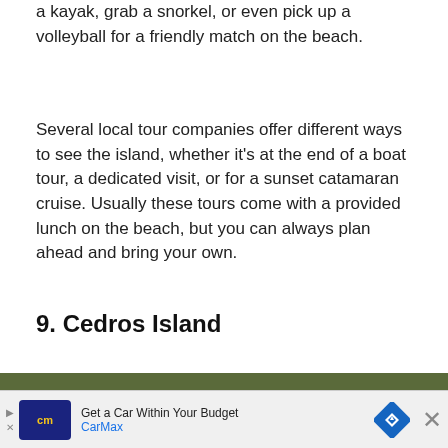a kayak, grab a snorkel, or even pick up a volleyball for a friendly match on the beach.
Several local tour companies offer different ways to see the island, whether it's at the end of a boat tour, a dedicated visit, or for a sunset catamaran cruise. Usually these tours come with a provided lunch on the beach, but you can always plan ahead and bring your own.
9. Cedros Island
[Figure (photo): Close-up photograph of dense cactus plants with white spines and green rounded pads, showing desert vegetation on Cedros Island.]
Get a Car Within Your Budget CarMax